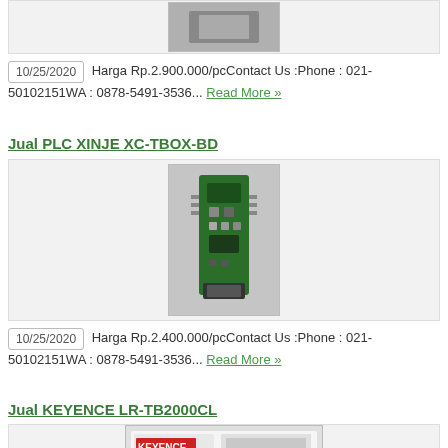[Figure (photo): Product image placeholder (top, partially visible)]
10/25/2020  Harga Rp.2.900.000/pcContact Us :Phone : 021-50102151WA : 0878-5491-3536...  Read More »
Jual PLC XINJE XC-TBOX-BD
[Figure (photo): Photo of XINJE XC-TBOX-BD PLC module (circuit board with ethernet port)]
10/25/2020  Harga Rp.2.400.000/pcContact Us :Phone : 021-50102151WA : 0878-5491-3536...  Read More »
Jual KEYENCE LR-TB2000CL
[Figure (photo): Photo of KEYENCE LR-TB2000CL device (partially visible at bottom)]